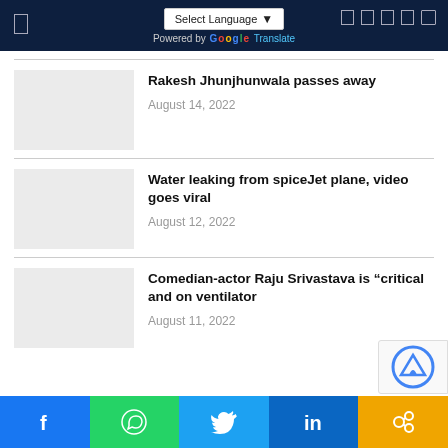Select Language | Powered by Google Translate
Rakesh Jhunjhunwala passes away
August 14, 2022
Water leaking from spiceJet plane, video goes viral
August 12, 2022
Comedian-actor Raju Srivastava is "critical and on ventilator
August 11, 2022
f  WhatsApp  Twitter  in  Link